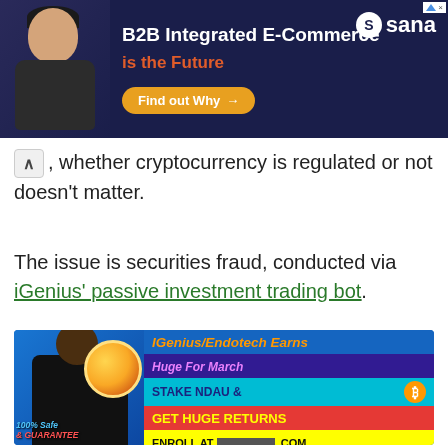[Figure (infographic): Advertisement banner for Sana B2B Integrated E-Commerce with a man in a dark outfit, text 'B2B Integrated E-Commerce is the Future' with a 'Find out Why' button]
, whether cryptocurrency is regulated or not doesn't matter.
The issue is securities fraud, conducted via iGenius' passive investment trading bot.
[Figure (infographic): IGenius/Endotech promotional cryptocurrency image with text: 'IGenius/Endotech Earns', 'Huge For March', 'STAKE NDAU &', 'GET HUGE RETURNS', 'ENROLL AT [redacted].COM', '100% Safe & GUARANTEE']